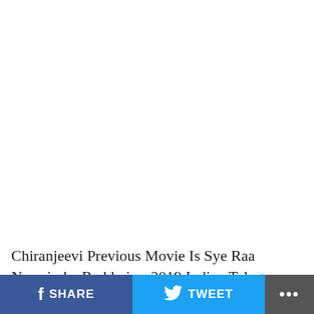Chiranjeevi Previous Movie Is Sye Raa Narasimha Reddy is a 2019 Indian Telugu language historical action film
SHARE   TWEET   ...